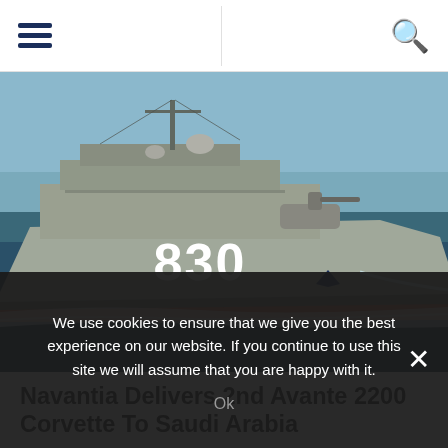[Navigation bar with hamburger menu and search icon]
[Figure (photo): Military corvette ship numbered 830 sailing at sea, grey hull, calm blue water, photographed from the side]
Navantia Delivers 2nd Avante 2200 Corvette To Saudi Arabia
We use cookies to ensure that we give you the best experience on our website. If you continue to use this site we will assume that you are happy with it.
Ok